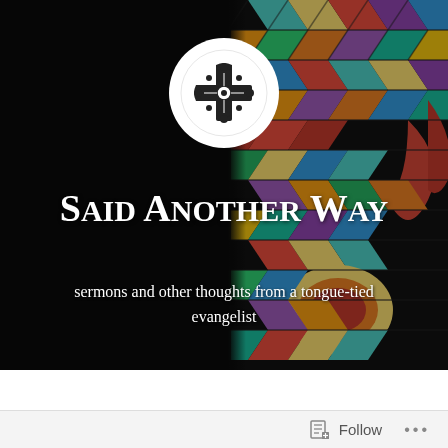[Figure (illustration): Blog header image with stained glass window on the right side showing colorful diamond-patterned stained glass with red, blue, teal, yellow, orange colors and a circular medallion. Black background on left. A white circular logo with an ornate cross appears in the center-top area. Text overlay shows the blog title 'Said Another Way' and subtitle 'sermons and other thoughts from a tongue-tied evangelist'.]
Said Another Way
sermons and other thoughts from a tongue-tied evangelist
Follow